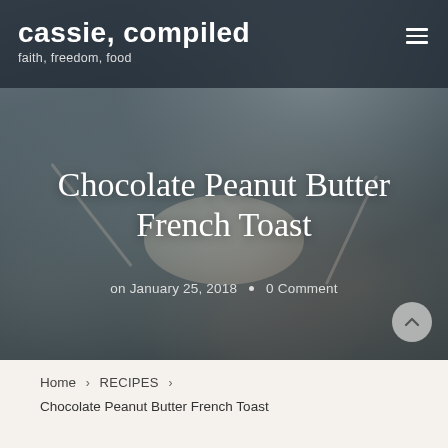cassie, compiled
faith, freedom, food
[Figure (photo): Hero image of a plate of French toast with banana slices and blueberries on a textured surface, with a laptop and cutlery visible, dark moody tones. Overlaid with article title 'Chocolate Peanut Butter French Toast' and meta info 'on January 25, 2018 • 0 Comment'.]
Chocolate Peanut Butter French Toast
on January 25, 2018 • 0 Comment
Home › RECIPES › Chocolate Peanut Butter French Toast